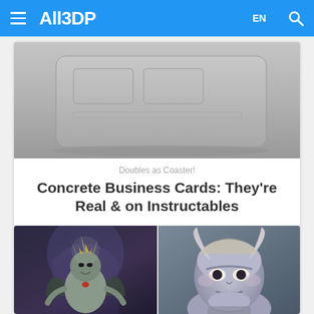All3DP — EN
[Figure (photo): Photo of a grey concrete business card on a textured surface, viewed from above showing rounded corners and embossed rectangles]
Doubles as Coaster!
Concrete Business Cards: They're Real & on Instructables
[Figure (photo): Two 3D rendered fantasy demon/creature characters side by side — left: dark throne room setting with horned demon creature, right: close-up of a grey-skinned creature with curled horns]